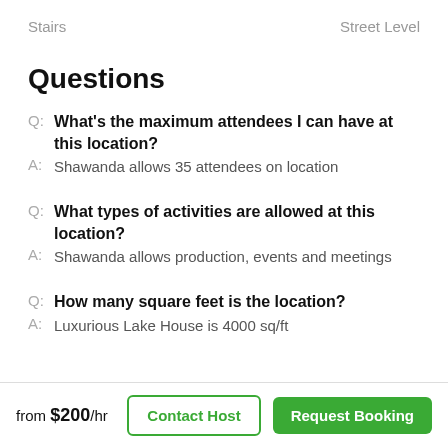Stairs   Street Level
Questions
Q: What's the maximum attendees I can have at this location?
A: Shawanda allows 35 attendees on location
Q: What types of activities are allowed at this location?
A: Shawanda allows production, events and meetings
Q: How many square feet is the location?
A: Luxurious Lake House is 4000 sq/ft
from $200/hr   Contact Host   Request Booking